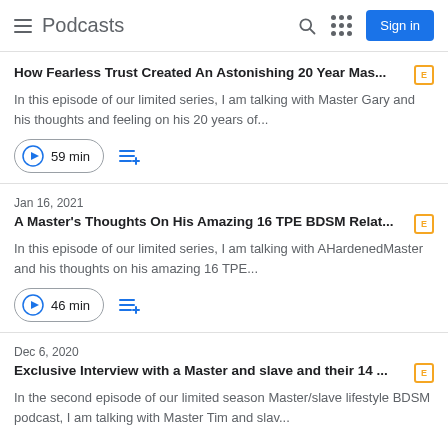Podcasts
How Fearless Trust Created An Astonishing 20 Year Mas... [E]
In this episode of our limited series, I am talking with Master Gary and his thoughts and feeling on his 20 years of...
59 min
Jan 16, 2021
A Master's Thoughts On His Amazing 16 TPE BDSM Relat... [E]
In this episode of our limited series, I am talking with AHardenedMaster and his thoughts on his amazing 16 TPE...
46 min
Dec 6, 2020
Exclusive Interview with a Master and slave and their 14 ... [E]
In the second episode of our limited season Master/slave lifestyle BDSM podcast, I am talking with Master Tim and slav...